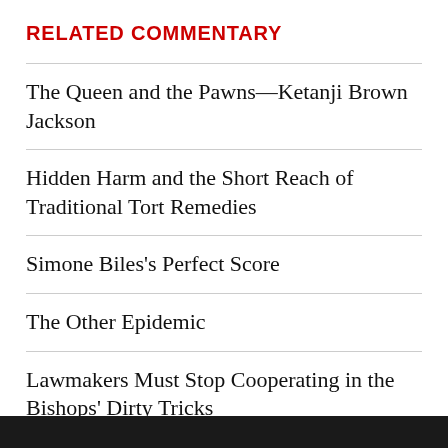RELATED COMMENTARY
The Queen and the Pawns—Ketanji Brown Jackson
Hidden Harm and the Short Reach of Traditional Tort Remedies
Simone Biles's Perfect Score
The Other Epidemic
Lawmakers Must Stop Cooperating in the Bishops' Dirty Tricks